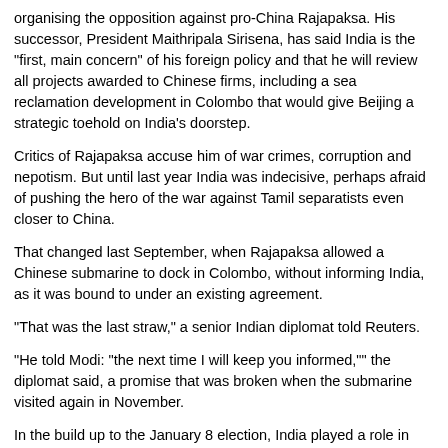organising the opposition against pro-China Rajapaksa. His successor, President Maithripala Sirisena, has said India is the "first, main concern" of his foreign policy and that he will review all projects awarded to Chinese firms, including a sea reclamation development in Colombo that would give Beijing a strategic toehold on India's doorstep.
Critics of Rajapaksa accuse him of war crimes, corruption and nepotism. But until last year India was indecisive, perhaps afraid of pushing the hero of the war against Tamil separatists even closer to China.
That changed last September, when Rajapaksa allowed a Chinese submarine to dock in Colombo, without informing India, as it was bound to under an existing agreement.
"That was the last straw," a senior Indian diplomat told Reuters.
"He told Modi: "the next time I will keep you informed,"" the diplomat said, a promise that was broken when the submarine visited again in November.
In the build up to the January 8 election, India played a role in uniting Sri Lanka's usually fractious opposition, for which the station chief of India's spy agency was expelled, diplomatic and political sources say.